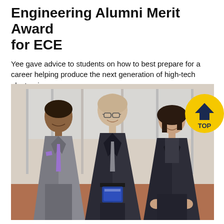Engineering Alumni Merit Award for ECE
Yee gave advice to students on how to best prepare for a career helping produce the next generation of high-tech electronics.
[Figure (photo): Three people standing and smiling for a photo: on the left, a man in a grey suit with a purple tie and pocket square; in the center, a taller man in a dark suit holding a blue glass award; on the right, a woman in a dark blazer. They are standing in front of a modern building interior. A yellow circular badge with an upward chevron and the text 'TOP' is overlaid in the upper right corner of the photo.]